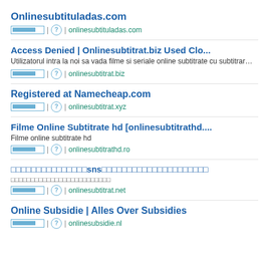Onlinesubtituladas.com
| ? | onlinesubtituladas.com
Access Denied | Onlinesubtitrat.biz Used Clo...
Utilizatorul intra la noi sa vada filme si seriale online subtitrate cu subtitrar…
| ? | onlinesubtitrat.biz
Registered at Namecheap.com
| ? | onlinesubtitrat.xyz
Filme Online Subtitrate hd [onlinesubtitrathd....
Filme online subtitrate hd
| ? | onlinesubtitrathd.ro
[tofu characters]sns[tofu characters]
[tofu characters]
| ? | onlinesubtitrat.net
Online Subsidie | Alles Over Subsidies
| ? | onlinesubsidie.nl